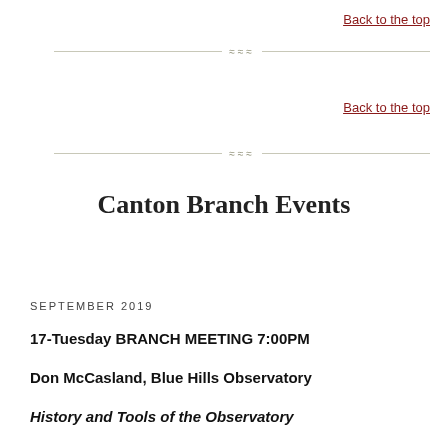Back to the top
Back to the top
Canton Branch Events
SEPTEMBER 2019
17-Tuesday BRANCH MEETING 7:00PM
Don McCasland, Blue Hills Observatory
History and Tools of the Observatory